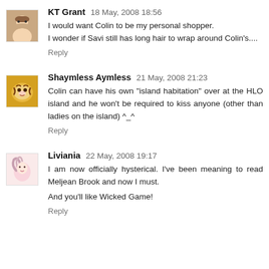[Figure (photo): Avatar photo of KT Grant — woman with flowers]
KT Grant 18 May, 2008 18:56
I would want Colin to be my personal shopper.
I wonder if Savi still has long hair to wrap around Colin's....
Reply
[Figure (photo): Avatar photo of Shaymless Aymless — tiger face]
Shaymless Aymless 21 May, 2008 21:23
Colin can have his own "island habitation" over at the HLO island and he won't be required to kiss anyone (other than ladies on the island) ^_^
Reply
[Figure (photo): Avatar photo of Liviania — illustrated character]
Liviania 22 May, 2008 19:17
I am now officially hysterical. I've been meaning to read Meljean Brook and now I must.

And you'll like Wicked Game!
Reply